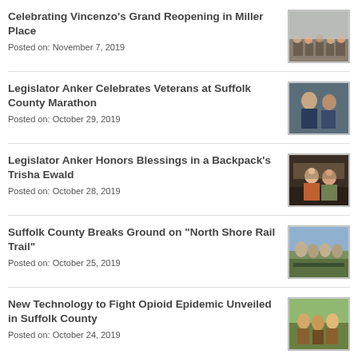Celebrating Vincenzo's Grand Reopening in Miller Place
Posted on: November 7, 2019
[Figure (photo): Group photo at Vincenzo's Grand Reopening in Miller Place]
Legislator Anker Celebrates Veterans at Suffolk County Marathon
Posted on: October 29, 2019
[Figure (photo): Photo from Suffolk County Marathon veterans celebration]
Legislator Anker Honors Blessings in a Backpack's Trisha Ewald
Posted on: October 28, 2019
[Figure (photo): Photo of Legislator Anker honoring Trisha Ewald at an event]
Suffolk County Breaks Ground on “North Shore Rail Trail”
Posted on: October 25, 2019
[Figure (photo): Groundbreaking ceremony photo for North Shore Rail Trail]
New Technology to Fight Opioid Epidemic Unveiled in Suffolk County
Posted on: October 24, 2019
[Figure (photo): Photo of officials at opioid technology unveiling event]